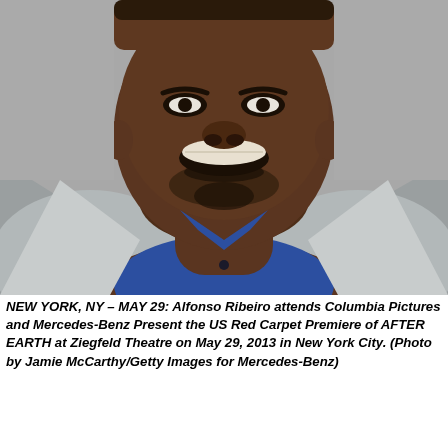[Figure (photo): Close-up photo of a man (Alfonso Ribeiro) smiling, wearing a blue shirt and light grey blazer, against a grey background. The photo shows his face and upper torso.]
NEW YORK, NY – MAY 29: Alfonso Ribeiro attends Columbia Pictures and Mercedes-Benz Present the US Red Carpet Premiere of AFTER EARTH at Ziegfeld Theatre on May 29, 2013 in New York City. (Photo by Jamie McCarthy/Getty Images for Mercedes-Benz)